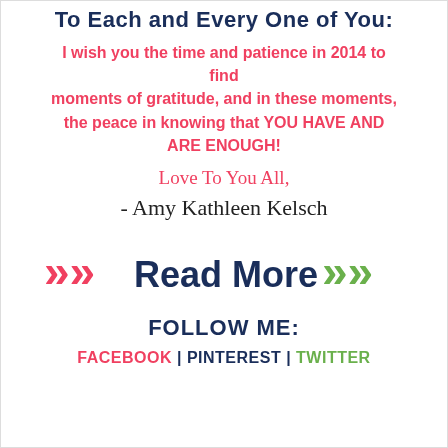To Each and Every One of You:
I wish you the time and patience in 2014 to find moments of gratitude, and in these moments, the peace in knowing that YOU HAVE AND ARE ENOUGH!
Love To You All,
-Amy Kathleen Kelsch
[Figure (other): Read More button with red chevron arrows on left and green chevron arrows on right, dark navy text]
FOLLOW ME:
FACEBOOK | PINTEREST | TWITTER